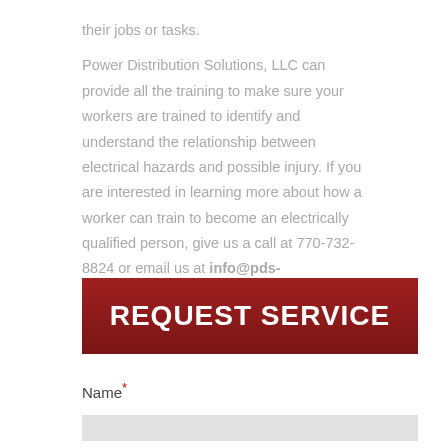their jobs or tasks.

Power Distribution Solutions, LLC can provide all the training to make sure your workers are trained to identify and understand the relationship between electrical hazards and possible injury. If you are interested in learning more about how a worker can train to become an electrically qualified person, give us a call at 770-732-8824 or email us at info@pds-heatseeker.com.
[Figure (other): Dark red button with white bold uppercase text reading REQUEST SERVICE]
Name*